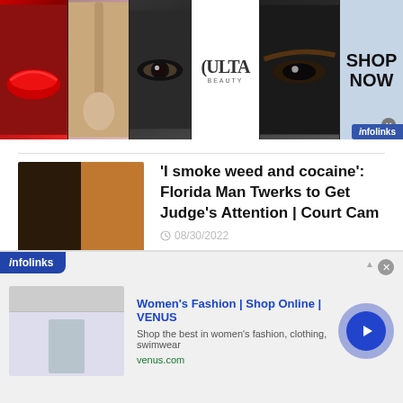[Figure (photo): Ulta Beauty advertisement banner with makeup images (lips, brush, eye, Ulta logo, eyebrow closeup) and SHOP NOW call to action with infolinks badge]
'I smoke weed and cocaine': Florida Man Twerks to Get Judge's Attention | Court Cam
08/30/2022
Vicious Fight at Chris Brown Concert Shows Woman Laid Out Unconscious
08/30/2022
[Figure (photo): Infolinks advertisement for Women's Fashion | Shop Online | VENUS - Shop the best in women's fashion, clothing, swimwear - venus.com]